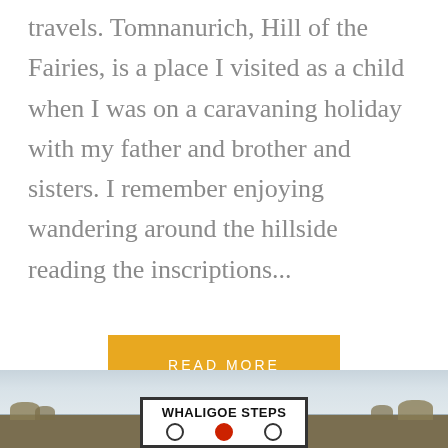travels.  Tomnanurich, Hill of the Fairies, is a place I visited as a child when I was on a caravaning holiday with my father and brother and sisters.  I remember enjoying wandering around the hillside reading the inscriptions...
READ MORE
[Figure (photo): Outdoor coastal photograph showing sea and sky in the background with grassy scrubland in the foreground and a white sign reading 'WHALIGOE STEPS' with icons below it]